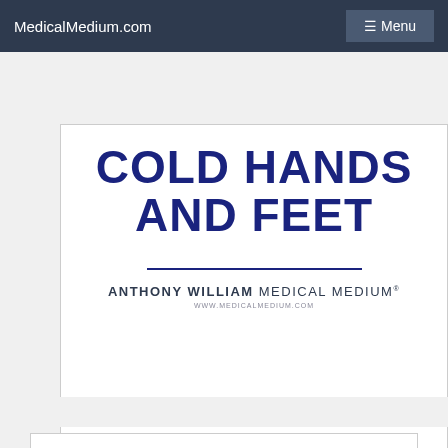MedicalMedium.com  ☰ Menu
[Figure (other): Book cover showing title 'COLD HANDS AND FEET' by Anthony William Medical Medium, with a horizontal divider line and website URL WWW.MEDICALMEDIUM.COM]
COLD HANDS AND FEET
ANTHONY WILLIAM MEDICAL MEDIUM® WWW.MEDICALMEDIUM.COM